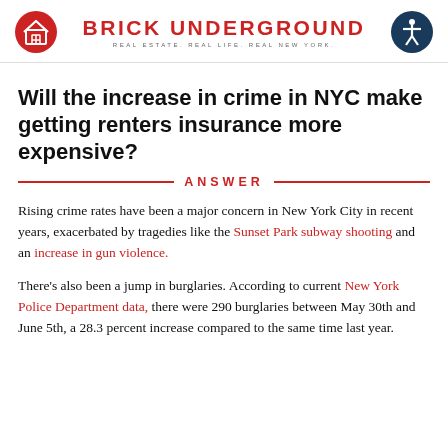BRICK UNDERGROUND — REAL ESTATE. REAL LIFE. REAL NEW YORK.
Will the increase in crime in NYC make getting renters insurance more expensive?
ANSWER
Rising crime rates have been a major concern in New York City in recent years, exacerbated by tragedies like the Sunset Park subway shooting and an increase in gun violence.
There's also been a jump in burglaries. According to current New York Police Department data, there were 290 burglaries between May 30th and June 5th, a 28.3 percent increase compared to the same time last year.